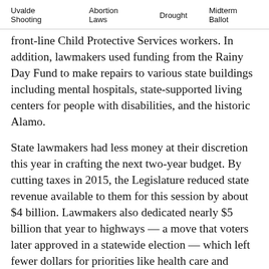Uvalde Shooting   Abortion Laws   Drought   Midterm Ballot
front-line Child Protective Services workers. In addition, lawmakers used funding from the Rainy Day Fund to make repairs to various state buildings including mental hospitals, state-supported living centers for people with disabilities, and the historic Alamo.
State lawmakers had less money at their discretion this year in crafting the next two-year budget. By cutting taxes in 2015, the Legislature reduced state revenue available to them for this session by about $4 billion. Lawmakers also dedicated nearly $5 billion that year to highways — a move that voters later approved in a statewide election — which left fewer dollars for priorities like health care and education.
In addition, a moderately sluggish economy slowed revenue growth, leaving the state's coffers emptier than…